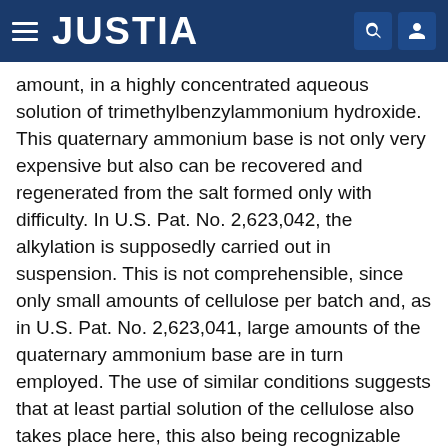JUSTIA
amount, in a highly concentrated aqueous solution of trimethylbenzylammonium hydroxide. This quaternary ammonium base is not only very expensive but also can be recovered and regenerated from the salt formed only with difficulty. In U.S. Pat. No. 2,623,042, the alkylation is supposedly carried out in suspension. This is not comprehensible, since only small amounts of cellulose per batch and, as in U.S. Pat. No. 2,623,041, large amounts of the quaternary ammonium base are in turn employed. The use of similar conditions suggests that at least partial solution of the cellulose also takes place here, this also being recognizable from the small amounts of cellulose which can be reacted. The reagent used, a dialkylaminoethyl chloride hydrochloride, behaves ambivalently under the alkylating conditions. It can react not only with the cellulose but also with itself.